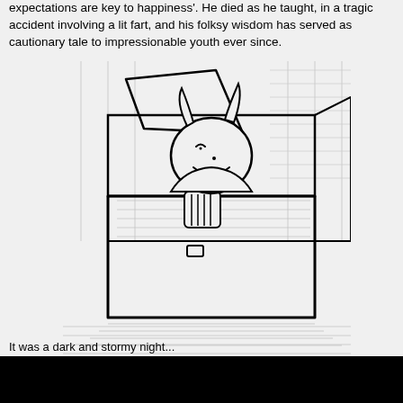expectations are key to happiness'. He died as he taught, in a tragic accident involving a lit fart, and his folksy wisdom has served as cautionary tale to impressionable youth ever since.
[Figure (illustration): Hand-drawn sketch illustration of a small cartoon devil or demon character with horns and fangs, sitting inside an open cardboard box. The box lid is open. The background has cross-hatching shading. The style is rough pencil/pen sketch.]
It was a dark and stormy night...